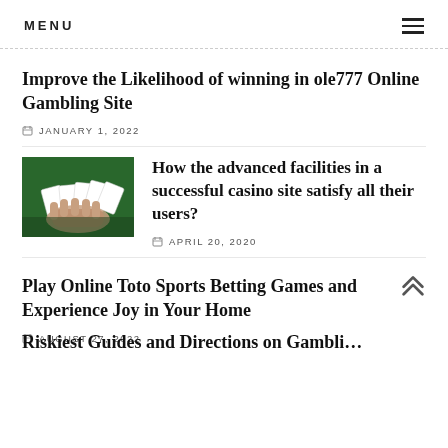MENU
Improve the Likelihood of winning in ole777 Online Gambling Site
JANUARY 1, 2022
[Figure (photo): Hands dealing playing cards on a green casino table]
How the advanced facilities in a successful casino site satisfy all their users?
APRIL 20, 2020
Play Online Toto Sports Betting Games and Experience Joy in Your Home
AUGUST 27, 2022
Riskiest Guides and Directions on Gambling...